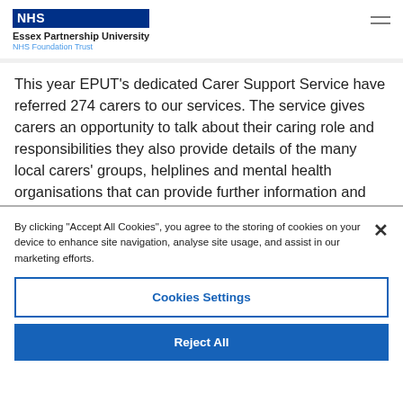NHS Essex Partnership University NHS Foundation Trust
This year EPUT’s dedicated Carer Support Service have referred 274 carers to our services. The service gives carers an opportunity to talk about their caring role and responsibilities they also provide details of the many local carers’ groups, helplines and mental health organisations that can provide further information and support to carers.
By clicking “Accept All Cookies”, you agree to the storing of cookies on your device to enhance site navigation, analyse site usage, and assist in our marketing efforts.
Cookies Settings
Reject All